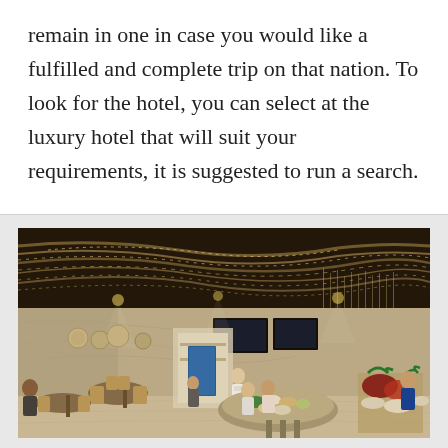remain in one in case you would like a fulfilled and complete trip on that nation. To look for the hotel, you can select at the luxury hotel that will suit your requirements, it is suggested to run a search.
[Figure (photo): Interior of a luxury hotel restaurant or buffet dining area with dramatic wave-patterned ceiling with string lights, marble walls, open kitchen, round buffet station with food displays, and diners and staff visible throughout the warm-lit space.]